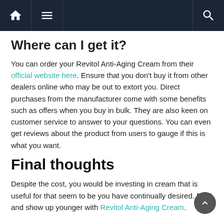Navigation bar with home, menu, and search icons
Where can I get it?
You can order your Revitol Anti-Aging Cream from their official website here. Ensure that you don't buy it from other dealers online who may be out to extort you. Direct purchases from the manufacturer come with some benefits such as offers when you buy in bulk. They are also keen on customer service to answer to your questions. You can even get reviews about the product from users to gauge if this is what you want.
Final thoughts
Despite the cost, you would be investing in cream that is useful for that seem to be you have continually desired. Feel and show up younger with Revitol Anti-Aging Cream.